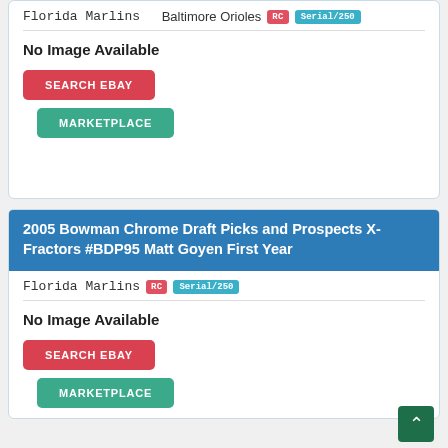Baltimore Orioles RC Serial/250
No Image Available
SEARCH EBAY
MARKETPLACE
2005 Bowman Chrome Draft Picks and Prospects X-Fractors #BDP95 Matt Goyen First Year
Florida Marlins RC Serial/250
No Image Available
SEARCH EBAY
MARKETPLACE